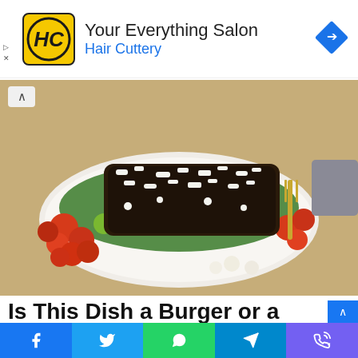[Figure (infographic): Advertisement banner for Hair Cuttery salon. Yellow square logo with 'HC' letters, text 'Your Everything Salon' and 'Hair Cuttery' in blue, blue diamond navigation icon on right. Small play and close markers on left edge.]
[Figure (photo): Food photo showing a white plate with a burger patty topped with crumbled feta cheese, served on a bed of arugula and mixed cherry tomatoes (red and green), with mozzarella balls. A gold fork is visible on the right. The plate sits on a woven beige placemat. A collapse/up arrow button is visible in top-left corner.]
Is This Dish a Burger or a Salad?
Facebook share | Twitter share | WhatsApp share | Telegram share | Phone/Viber share